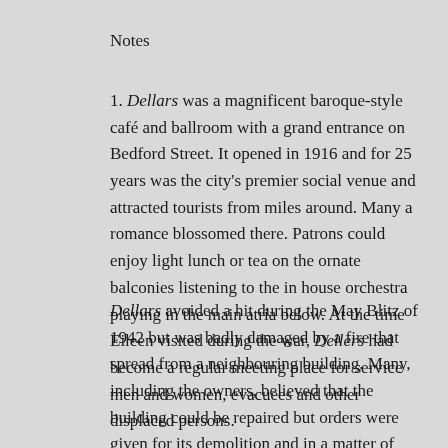Notes
1. Dellars was a magnificent baroque-style café and ballroom with a grand entrance on Bedford Street. It opened in 1916 and for 25 years was the city's premier social venue and attracted tourists from miles around. Many a romance blossomed there. Patrons could enjoy light lunch or tea on the ornate balconies listening to the in house orchestra playing in the main atria below. At the time Eileen visited during the war, Dellers had become a regular meeting place for service men and women, evacuees and other displaced persons.
Dellars avoided a hit during the May Blitz of 1942 but was badly damaged by a fire that spread from a neighbouring building. Many, including the owners, believed that the building could be repaired but orders were given for its demolition and in a matter of weeks the place, that many considered to be the social heart